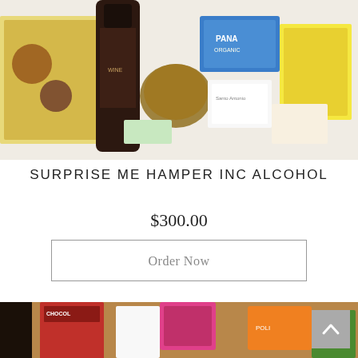[Figure (photo): Top-down photo of a gift hamper showing wine bottle, chocolates, and various packaged goods including Pana chocolate and Santo Antonio products]
SURPRISE ME HAMPER INC ALCOHOL
$300.00
Order Now
[Figure (photo): Top-down photo of a gift hamper with chocolates, fudge, biscuits, Ferrero Rocher, and various packaged confectionery items]